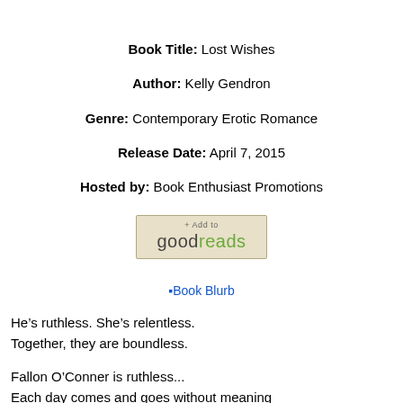Book Title: Lost Wishes
Author: Kelly Gendron
Genre: Contemporary Erotic Romance
Release Date: April 7, 2015
Hosted by: Book Enthusiast Promotions
[Figure (other): + Add to goodreads button image]
[Figure (other): Book Blurb image/header]
He’s ruthless. She’s relentless.
Together, they are boundless.

Fallon O’Conner is ruthless...
Each day comes and goes without meaning
He eats, sleeps, and waits
The time is nearing to confront his wife’s killer
And nothing will stop Fallon from getting his revenge